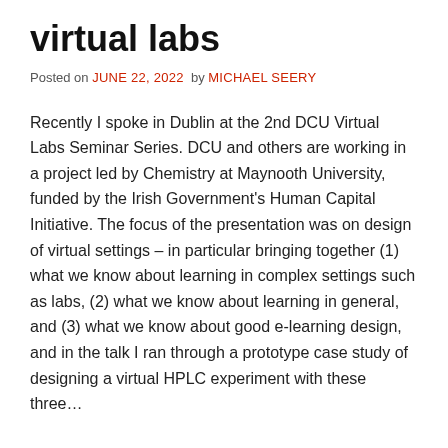virtual labs
Posted on JUNE 22, 2022  by MICHAEL SEERY
Recently I spoke in Dublin at the 2nd DCU Virtual Labs Seminar Series. DCU and others are working in a project led by Chemistry at Maynooth University, funded by the Irish Government's Human Capital Initiative. The focus of the presentation was on design of virtual settings – in particular bringing together (1) what we know about learning in complex settings such as labs, (2) what we know about learning in general, and (3) what we know about good e-learning design, and in the talk I ran through a prototype case study of designing a virtual HPLC experiment with these three…